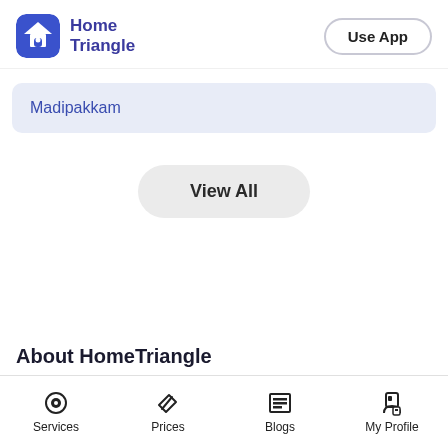Home Triangle — Use App
Madipakkam
View All
About HomeTriangle
Services | Prices | Blogs | My Profile